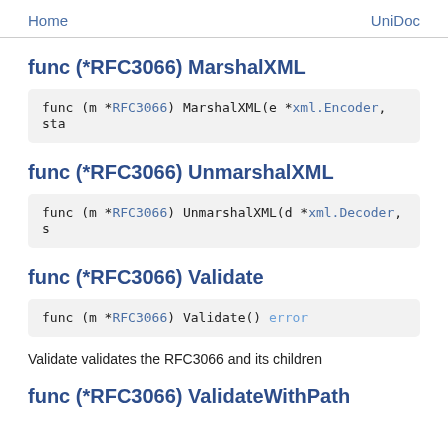Home   UniDoc
func (*RFC3066) MarshalXML
func (m *RFC3066) MarshalXML(e *xml.Encoder, sta
func (*RFC3066) UnmarshalXML
func (m *RFC3066) UnmarshalXML(d *xml.Decoder, s
func (*RFC3066) Validate
func (m *RFC3066) Validate() error
Validate validates the RFC3066 and its children
func (*RFC3066) ValidateWithPath